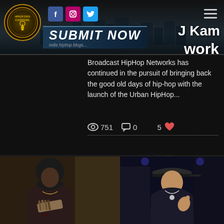[Figure (screenshot): HipHop Over Everything website header with logo, social media icons (Facebook, Instagram, Twitter), hamburger menu, Submit Now banner with 'indie hiphop blogs' subtitle, and text 'J Kam' and 'work' on the right]
Broadcast HipHop Networks has continued in the pursuit of bringing back the good old days of hip-hop with the launch of the Urban HipHop...
751  0  5
[Figure (photo): Two hip-hop artists: left person wearing a hoodie holding cash, right person wearing a cap making a gesture indoors]